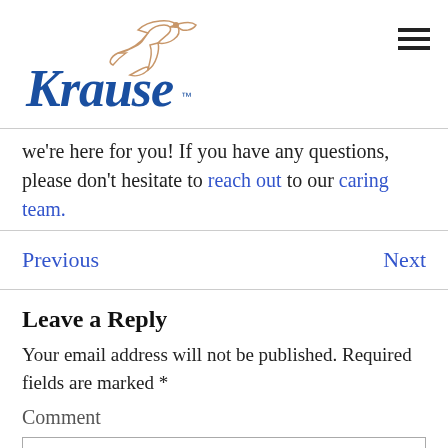[Figure (logo): Krause funeral home logo with a dove and cursive Krause text in blue with TM mark]
we're here for you! If you have any questions, please don't hesitate to reach out to our caring team.
Previous    Next
Leave a Reply
Your email address will not be published. Required fields are marked *
Comment